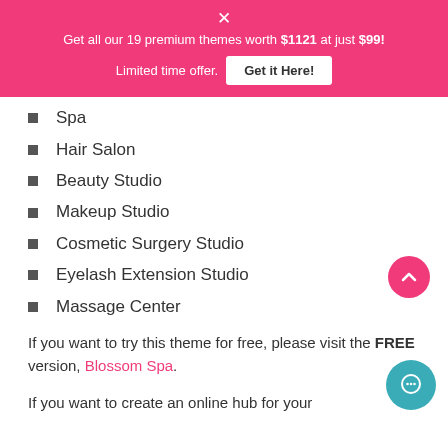× Get all our 19 premium themes worth $1121 at just $99! Limited time offer. Get it Here!
Spa
Hair Salon
Beauty Studio
Makeup Studio
Cosmetic Surgery Studio
Eyelash Extension Studio
Massage Center
If you want to try this theme for free, please visit the FREE version, Blossom Spa.
If you want to create an online hub for your